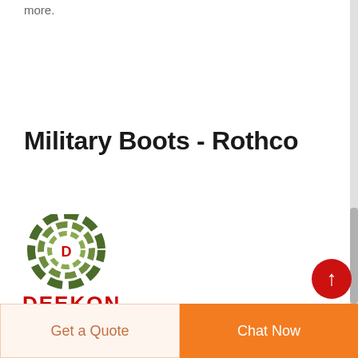more.
Military Boots - Rothco
[Figure (logo): Deekon brand logo: circular camouflage-pattern target/crosshair symbol in green shades with a red letter D in the center, and the word DEEKON in bold red text below]
[Figure (photo): Partial photo strip showing camouflage-patterned military boots]
Get a Quote
Chat Now